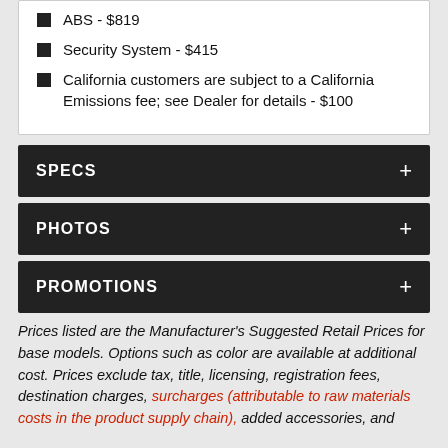ABS - $819
Security System - $415
California customers are subject to a California Emissions fee; see Dealer for details - $100
SPECS
PHOTOS
PROMOTIONS
Prices listed are the Manufacturer's Suggested Retail Prices for base models. Options such as color are available at additional cost. Prices exclude tax, title, licensing, registration fees, destination charges, surcharges (attributable to raw materials costs in the product supply chain), added accessories, and